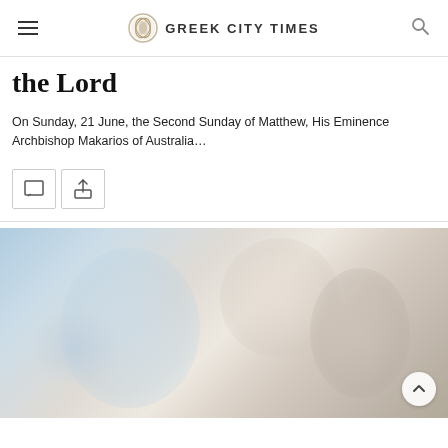Greek City Times
the Lord
On Sunday, 21 June, the Second Sunday of Matthew, His Eminence Archbishop Makarios of Australia…
[Figure (photo): Blurred photo of a religious figure, light blue and warm beige tones]